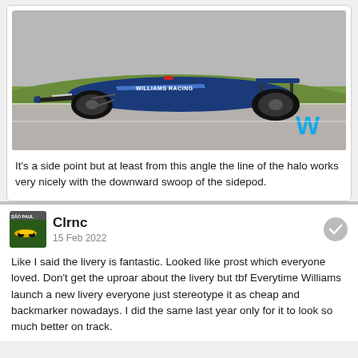[Figure (photo): Williams Racing Formula 1 car (blue livery, FW44) on track, side view, with Williams 'W' logo visible on grass background. Car has WILLIAMS RACING text on sidepod.]
It's a side point but at least from this angle the line of the halo works very nicely with the downward swoop of the sidepod.
Clrnc
15 Feb 2022
Like I said the livery is fantastic. Looked like prost which everyone loved. Don't get the uproar about the livery but tbf Everytime Williams launch a new livery everyone just stereotype it as cheap and backmarker nowadays. I did the same last year only for it to look so much better on track.